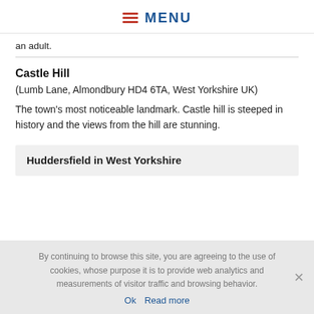MENU
an adult.
Castle Hill
(Lumb Lane, Almondbury HD4 6TA, West Yorkshire UK)
The town's most noticeable landmark. Castle hill is steeped in history and the views from the hill are stunning.
Huddersfield in West Yorkshire
By continuing to browse this site, you are agreeing to the use of cookies, whose purpose it is to provide web analytics and measurements of visitor traffic and browsing behavior.
Ok  Read more